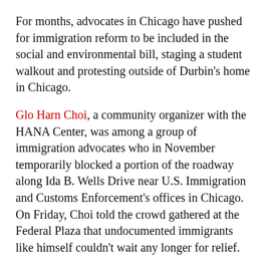For months, advocates in Chicago have pushed for immigration reform to be included in the social and environmental bill, staging a student walkout and protesting outside of Durbin's home in Chicago.
Glo Harn Choi, a community organizer with the HANA Center, was among a group of immigration advocates who in November temporarily blocked a portion of the roadway along Ida B. Wells Drive near U.S. Immigration and Customs Enforcement's offices in Chicago. On Friday, Choi told the crowd gathered at the Federal Plaza that undocumented immigrants like himself couldn't wait any longer for relief.
“If they expect us to deliver for them during the elections, we need them to deliver for us in Congress,” he said.
Though Rodriguez isn’t allowed to vote, he told the crowd that he made calls and went door-to-door urging others to